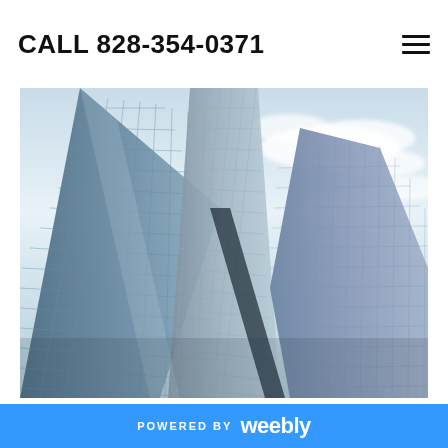CALL 828-354-0371
[Figure (photo): Low-angle upward view of modern glass skyscrapers against a blue sky with clouds, showing reflective glass facades with grid patterns]
Cloud storage lets you access your files easily from any device.
POWERED BY weebly